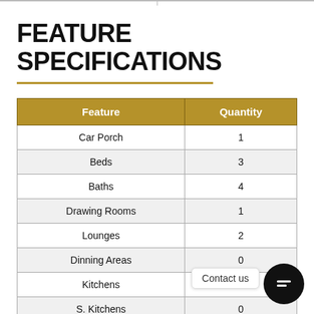FEATURE SPECIFICATIONS
| Feature | Quantity |
| --- | --- |
| Car Porch | 1 |
| Beds | 3 |
| Baths | 4 |
| Drawing Rooms | 1 |
| Lounges | 2 |
| Dinning Areas | 0 |
| Kitchens | 1 |
| S. Kitchens | 0 |